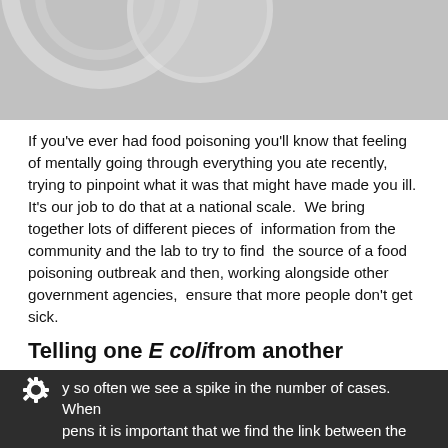[Figure (photo): Close-up grayscale photo of circular/ring shapes, possibly petri dishes or laboratory equipment, viewed from above.]
If you've ever had food poisoning you'll know that feeling of mentally going through everything you ate recently, trying to pinpoint what it was that might have made you ill. It's our job to do that at a national scale.  We bring together lots of different pieces of  information from the community and the lab to try to find  the source of a food poisoning outbreak and then, working alongside other government agencies,  ensure that more people don't get sick.
Telling one E coli from another
We study and monitor many different stomach bugs – some of which you may never have heard of! While stomach bugs are a part of life, PHE works with organisations such as the Food Standards Agency and the Animal and Plant Health Agency to try and prevent them.
y so often we see a spike in the number of cases.  When pens it is important that we find the link between the